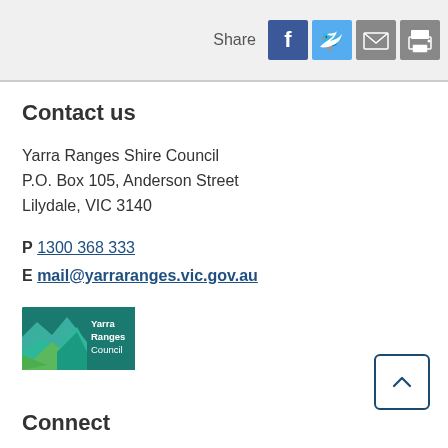[Figure (infographic): Share bar with Facebook, Twitter, email, and print icon buttons on a light grey background]
Contact us
Yarra Ranges Shire Council
P.O. Box 105, Anderson Street
Lilydale, VIC 3140
P 1300 368 333
E mail@yarraranges.vic.gov.au
[Figure (logo): Yarra Ranges Council logo with mountain/landscape graphic in green and blue teal colors]
Connect